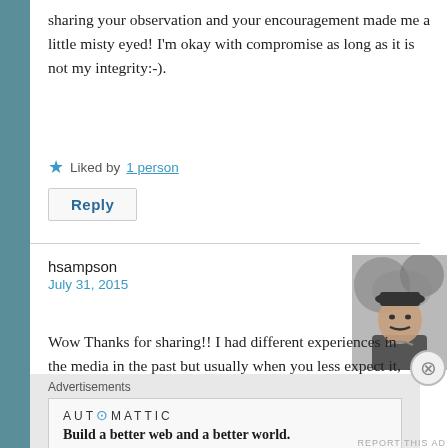sharing your observation and your encouragement made me a little misty eyed! I'm okay with compromise as long as it is not my integrity:-).
Liked by 1 person
Reply
hsampson
July 31, 2015
[Figure (photo): Black and white photo of a man wearing a cap, outdoors with trees in background]
Wow Thanks for sharing!! I had different experiences in the media in the past but usually when you less expect it, the bunny jumps from unexpected places, so be ready all the time. Thank you once more!
Advertisements
[Figure (logo): Automattic logo with tagline: Build a better web and a better world.]